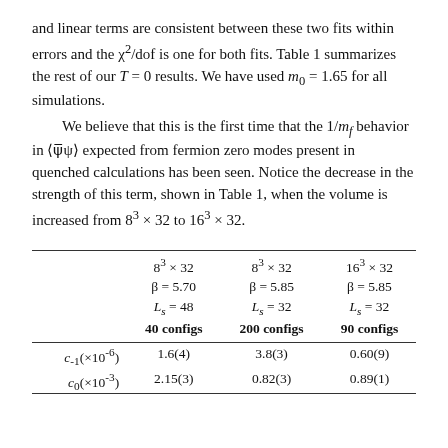and linear terms are consistent between these two fits within errors and the χ²/dof is one for both fits. Table 1 summarizes the rest of our T = 0 results. We have used m₀ = 1.65 for all simulations.
We believe that this is the first time that the 1/m_f behavior in ⟨ψ̄ψ⟩ expected from fermion zero modes present in quenched calculations has been seen. Notice the decrease in the strength of this term, shown in Table 1, when the volume is increased from 8³ × 32 to 16³ × 32.
|  | 8³ × 32
β = 5.70
L_s = 48
40 configs | 8³ × 32
β = 5.85
L_s = 32
200 configs | 16³ × 32
β = 5.85
L_s = 32
90 configs |
| --- | --- | --- | --- |
| c₋₁(×10⁻⁶) | 1.6(4) | 3.8(3) | 0.60(9) |
| c₀(×10⁻³) | 2.15(3) | 0.82(3) | 0.89(1) |